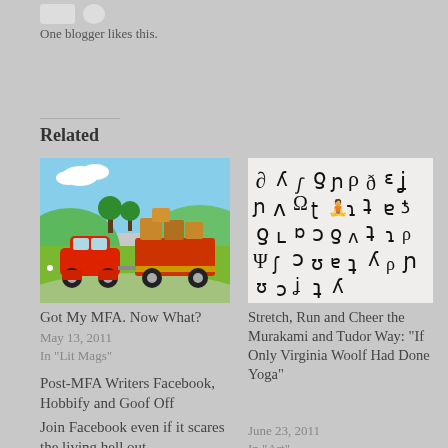One blogger likes this.
Related
[Figure (illustration): Cartoon illustration of a red car towing a red trailer loaded with boxes, on a green hilly road with blue sky and clouds]
Got My MFA. Now What?
May 13, 2011
In "Lit Mags"
[Figure (illustration): Black and white illustration with abstract human-like figures in various yoga or movement poses arranged in a grid pattern on white background]
Stretch, Run and Cheer the Murakami and Tudor Way: “If Only Virginia Woolf Had Done Yoga”
June 23, 2011
In “Art”
Post-MFA Writers Facebook, Hobbify and Goof Off
Join Facebook even if it scares the living hell out